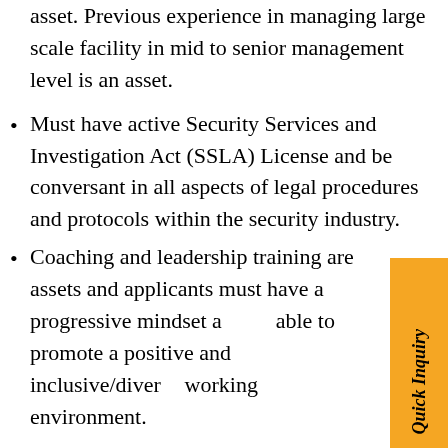asset. Previous experience in managing large scale facility in mid to senior management level is an asset.
Must have active Security Services and Investigation Act (SSLA) License and be conversant in all aspects of legal procedures and protocols within the security industry.
Coaching and leadership training are assets and applicants must have a progressive mindset and be able to promote a positive and inclusive/diverse working environment.
Must have excellent communication skills to prepare formal written business communication, presentation skills, & public speaking.
Advance knowledge of MS Office programs and ready to adopt/learn new software and evolving technology in the workplace.